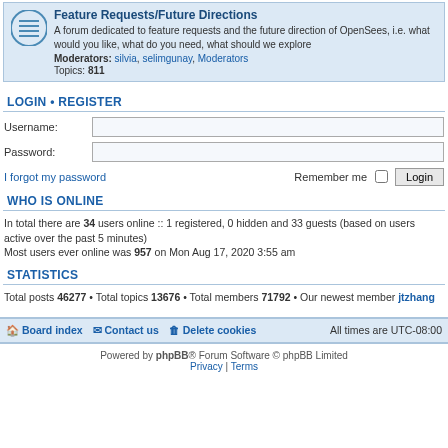Feature Requests/Future Directions
A forum dedicated to feature requests and the future direction of OpenSees, i.e. what would you like, what do you need, what should we explore
Moderators: silvia, selimgunay, Moderators
Topics: 811
LOGIN • REGISTER
Username:
Password:
I forgot my password
Remember me  Login
WHO IS ONLINE
In total there are 34 users online :: 1 registered, 0 hidden and 33 guests (based on users active over the past 5 minutes)
Most users ever online was 957 on Mon Aug 17, 2020 3:55 am
STATISTICS
Total posts 46277 • Total topics 13676 • Total members 71792 • Our newest member jtzhang
Board index   Contact us   Delete cookies   All times are UTC-08:00
Powered by phpBB® Forum Software © phpBB Limited
Privacy | Terms